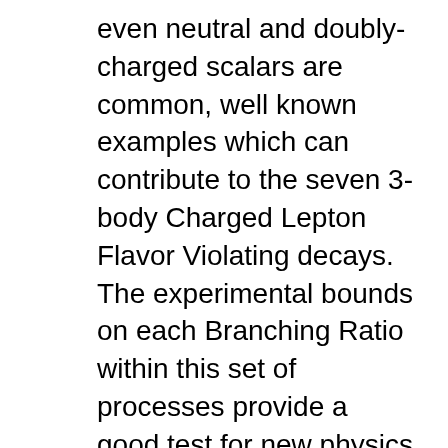even neutral and doubly-charged scalars are common, well known examples which can contribute to the seven 3-body Charged Lepton Flavor Violating decays. The experimental bounds on each Branching Ratio within this set of processes provide a good test for new physics that can induce powerful